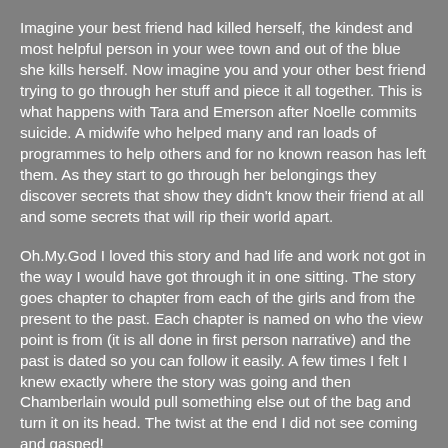Imagine your best friend had killed herself, the kindest and most helpful person in your wee town and out of the blue she kills herself. Now imagine you and your other best friend trying to go through her stuff and piece it all together. This is what happens with Tara and Emerson after Noelle commits suicide. A midwife who helped many and ran loads of programmes to help others and for no known reason has left them. As they start to go through her belongings they discover secrets that show they didn't know their friend at all and some secrets that will rip their world apart.
Oh.My.God I loved this story and had life and work not got in the way I would have got through it in one sitting. The story goes chapter to chapter from each of the girls and from the present to the past. Each chapter is named on who the view point is from (it is all done in first person narrative) and the past is dated so you can follow it easily. A few times I felt I knew exactly where the story was going and then Chamberlain would pull something else out of the bag and turn it on its head. The twist at the end I did not see coming and gasped!